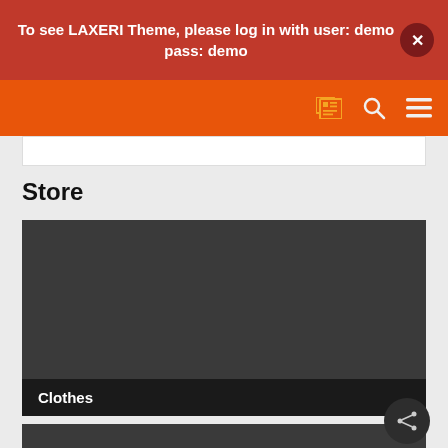To see LAXERI Theme, please log in with user: demo pass: demo
[Figure (screenshot): Orange navigation bar with newspaper icon, search icon, and hamburger menu icon in orange color on orange background]
Store
[Figure (photo): Dark gray product category card labeled Clothes]
[Figure (screenshot): Partial dark gray category card at bottom with share button overlay]